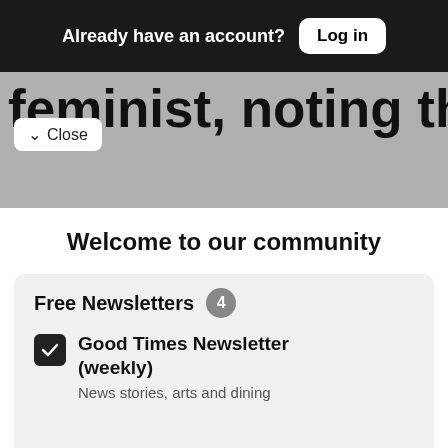Already have an account? Log in
feminist, noting that he served for
Close
than a year on the
Welcome to our community
Sign in or register for email updates and this box won't appear again. We're grateful for your support.
By registering you confirm you are 21+.
Free Newsletters 4
Good Times Newsletter (weekly)
News stories, arts and dining